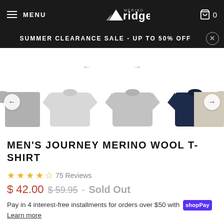MENU | ridge (logo) | 0 (cart)
SUMMER CLEARANCE SALE - UP TO 50% OFF
[Figure (photo): Carousel of men's t-shirts in grey, light grey, and navy colors]
MEN'S JOURNEY MERINO WOOL T-SHIRT
75 Reviews, 4.5 star rating
$ 42.00  $59.95 - Sold Out
Pay in 4 interest-free installments for orders over $50 with Shop Pay. Learn more